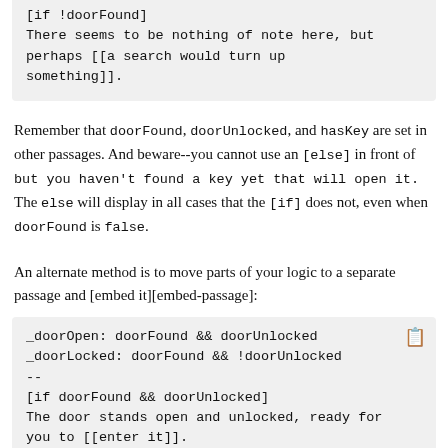[if !doorFound]
There seems to be nothing of note here, but perhaps [[a search would turn up something]].
Remember that doorFound, doorUnlocked, and hasKey are set in other passages. And beware--you cannot use an [else] in front of but you haven't found a key yet that will open it. The else will display in all cases that the [if] does not, even when doorFound is false.
An alternate method is to move parts of your logic to a separate passage and [embed it][embed-passage]:
_doorOpen: doorFound && doorUnlocked
_doorLocked: doorFound && !doorUnlocked
--
[if doorFound && doorUnlocked]
The door stands open and unlocked, ready for you to [[enter it]].